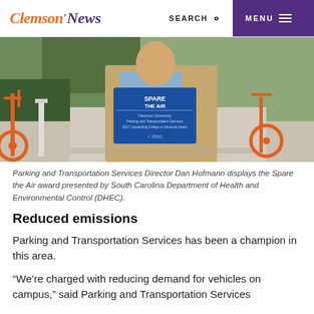Clemson News | SEARCH | MENU
[Figure (photo): Person in tan blazer holding a blue 'Spare the Air South Carolina' award plaque presented by DHEC, standing near orange bikes at a bike share station with greenery in background.]
Parking and Transportation Services Director Dan Hofmann displays the Spare the Air award presented by South Carolina Department of Health and Environmental Control (DHEC).
Reduced emissions
Parking and Transportation Services has been a champion in this area.
“We’re charged with reducing demand for vehicles on campus,” said Parking and Transportation Services